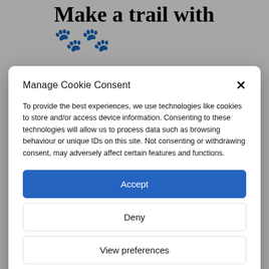Make a trail with
[Figure (photo): Partial background photo of birds (swans or geese) on water, visible at bottom of page behind modal overlay]
Manage Cookie Consent
To provide the best experiences, we use technologies like cookies to store and/or access device information. Consenting to these technologies will allow us to process data such as browsing behaviour or unique IDs on this site. Not consenting or withdrawing consent, may adversely affect certain features and functions.
Accept
Deny
View preferences
Cookie Policy   Privacy & Cookie Policy, Terms of Use